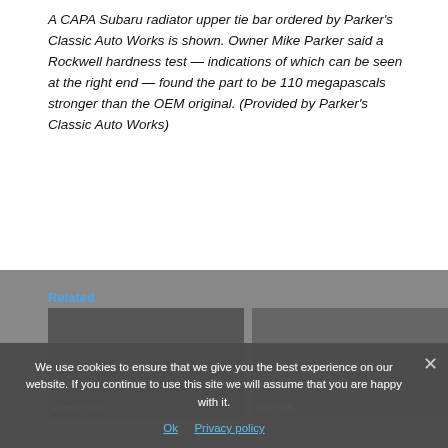A CAPA Subaru radiator upper tie bar ordered by Parker's Classic Auto Works is shown. Owner Mike Parker said a Rockwell hardness test — indications of which can be seen at the right end — found the part to be 110 megapascals stronger than the OEM original. (Provided by Parker's Classic Auto Works)
Share This:
[Figure (infographic): Social media share buttons: Facebook, Twitter, LinkedIn, Pinterest, Email, and a Share/More button]
Related
[Figure (photo): Thumbnail image of a related article about Armed with...]
[Figure (photo): Thumbnail image of a related article about NHTSA]
We use cookies to ensure that we give you the best experience on our website. If you continue to use this site we will assume that you are happy with it.
Ok   Privacy policy